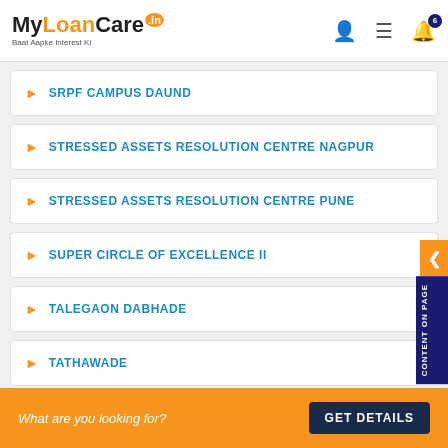MyLoanCare.in — Baat Aapke Interest Ki
SRPF CAMPUS DAUND
STRESSED ASSETS RESOLUTION CENTRE NAGPUR
STRESSED ASSETS RESOLUTION CENTRE PUNE
SUPER CIRCLE OF EXCELLENCE II
TALEGAON DABHADE
TATHAWADE
TILAK ROAD PUNE
TIMBER MARKET
What are you looking for? GET DETAILS